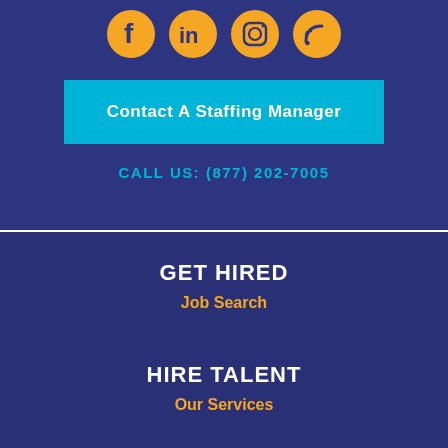[Figure (illustration): Four social media icons in orange circles: Facebook, LinkedIn, Instagram, RSS feed]
Contact A Staffing Manager
CALL US: (877) 202-7005
GET HIRED
Job Search
HIRE TALENT
Our Services